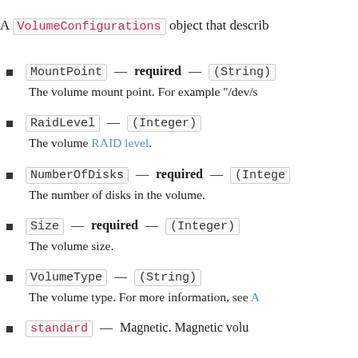A VolumeConfigurations object that describ
MountPoint — required — (String)
The volume mount point. For example "/dev/s
RaidLevel — (Integer)
The volume RAID level.
NumberOfDisks — required — (Integer)
The number of disks in the volume.
Size — required — (Integer)
The volume size.
VolumeType — (String)
The volume type. For more information, see A
standard — Magnetic. Magnetic volu